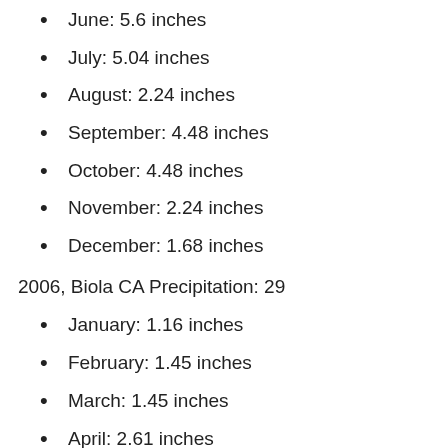June: 5.6 inches
July: 5.04 inches
August: 2.24 inches
September: 4.48 inches
October: 4.48 inches
November: 2.24 inches
December: 1.68 inches
2006, Biola CA Precipitation: 29
January: 1.16 inches
February: 1.45 inches
March: 1.45 inches
April: 2.61 inches
May: 2.61 inches
June: 2.61 inches
July: 2.61 inches
August: 1.16 inches
September: 2.9 inches
October: 2.9 inches